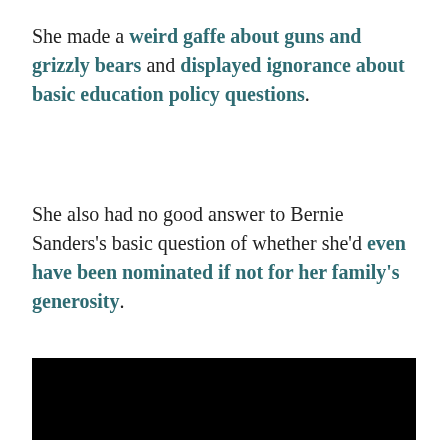She made a weird gaffe about guns and grizzly bears and displayed ignorance about basic education policy questions.
She also had no good answer to Bernie Sanders’s basic question of whether she’d even have been nominated if not for her family’s generosity.
[Figure (photo): A solid black rectangular image placeholder]